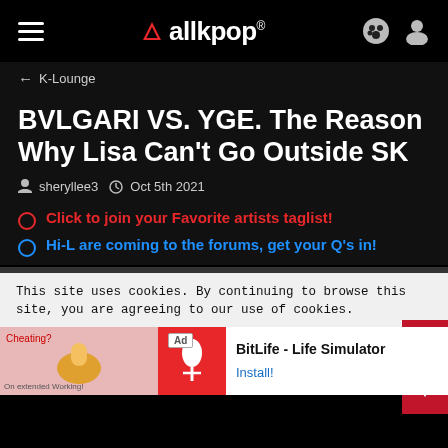allkpop
← K-Lounge
BVLGARI VS. YGE. The Reason Why Lisa Can't Go Outside SK
sheryllee3  Oct 5th 2021
Click to join your Favorite artists taglist!
Hi-L are coming to the forums, get your Q's in!
This site uses cookies. By continuing to browse this site, you are agreeing to our use of cookies.
BitLife - Life Simulator  Install!